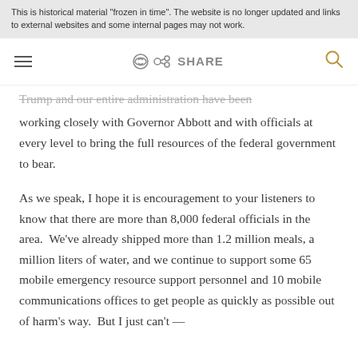This is historical material "frozen in time". The website is no longer updated and links to external websites and some internal pages may not work.
Trump and our entire administration have been working closely with Governor Abbott and with officials at every level to bring the full resources of the federal government to bear.
As we speak, I hope it is encouragement to your listeners to know that there are more than 8,000 federal officials in the area.  We've already shipped more than 1.2 million meals, a million liters of water, and we continue to support some 65 mobile emergency resource support personnel and 10 mobile communications offices to get people as quickly as possible out of harm's way.  But I just can't —